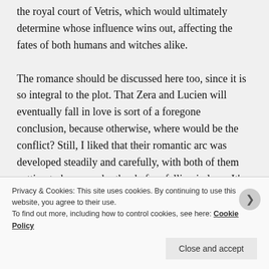the royal court of Vetris, which would ultimately determine whose influence wins out, affecting the fates of both humans and witches alike.

The romance should be discussed here too, since it is so integral to the plot. That Zera and Lucien will eventually fall in love is sort of a foregone conclusion, because otherwise, where would be the conflict? Still, I liked that their romantic arc was developed steadily and carefully, with both of them getting to know each other before falling in love. It’s the crux of the novel’s premise after all, since it would be much easier to betray someone and rip out their heart if you saw them as a soulless
Privacy & Cookies: This site uses cookies. By continuing to use this website, you agree to their use.
To find out more, including how to control cookies, see here: Cookie Policy
Close and accept